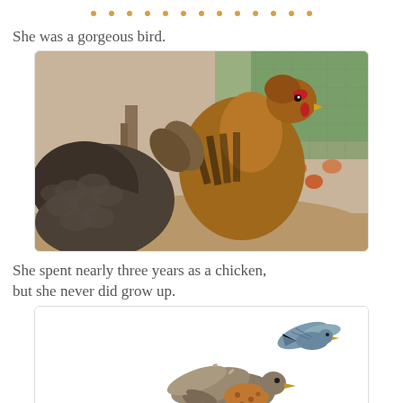[Figure (other): Decorative dotted line separator in orange/gold color]
She was a gorgeous bird.
[Figure (photo): Photograph of a large brown and black chicken with detailed feather markings, standing in a farmyard/chicken coop setting with other chickens visible in the background.]
She spent nearly three years as a chicken, but she never did grow up.
[Figure (illustration): Illustration of cartoon birds - a blue-grey bird flying at top right, and a larger brown/tan bird with orange markings at bottom center.]